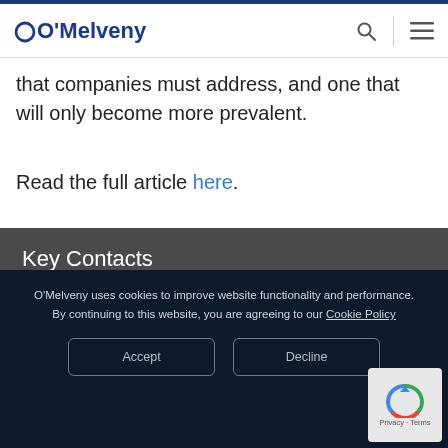O'Melveny
that companies must address, and one that will only become more prevalent.
Read the full article here.
Key Contacts
[Figure (photo): Profile photo of a contact person]
O'Melveny uses cookies to improve website functionality and performance. By continuing to this website, you are agreeing to our Cookie Policy
Accept
Decline